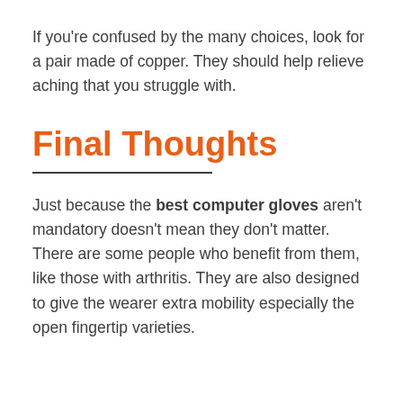If you're confused by the many choices, look for a pair made of copper. They should help relieve aching that you struggle with.
Final Thoughts
Just because the best computer gloves aren't mandatory doesn't mean they don't matter. There are some people who benefit from them, like those with arthritis. They are also designed to give the wearer extra mobility especially the open fingertip varieties.